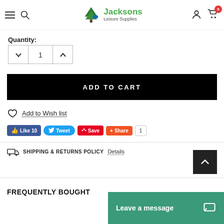Jacksons Leisure Supplies — site header with navigation, search, logo, account, cart (0)
Quantity:
1
ADD TO CART
Add to Wish list
Like 10  Tweet  Save  Share  1
SHIPPING & RETURNS POLICY  Details
FREQUENTLY BOUGHT
Leave a message